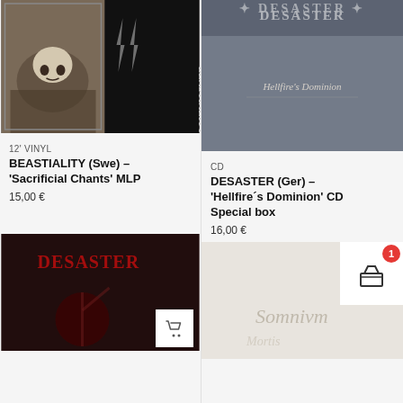[Figure (photo): Album cover for Beastiality 'Sacrificial Chants' MLP - dark photo with skull and band members]
12' VINYL
BEASTIALITY (Swe) – 'Sacrificial Chants' MLP
15,00 €
[Figure (photo): Album cover for Desaster 'Hellfire's Dominion' CD Special box - grey/blue cover with cursive text]
CD
DESASTER (Ger) – 'Hellfire´s Dominion' CD Special box
16,00 €
[Figure (photo): Album cover for another Desaster release - red logo on dark background with figure]
[Figure (photo): Partial album cover bottom right with decorative text, partially covered by basket icon]
[Figure (other): Shopping cart badge overlay with number 1 and basket icon]